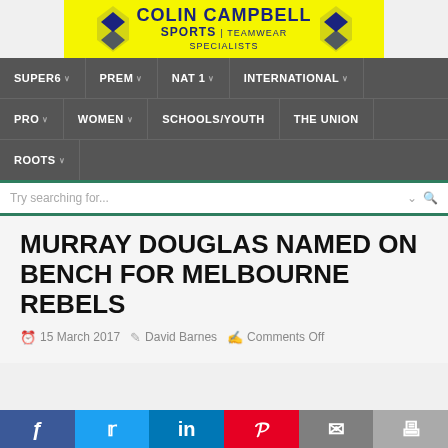[Figure (logo): Colin Campbell Sports Teamwear Specialists logo on yellow background with chevron/shield emblems on both sides]
SUPER6 ∨  PREM ∨  NAT 1 ∨  INTERNATIONAL ∨  PRO ∨  WOMEN ∨  SCHOOLS/YOUTH  THE UNION  ROOTS ∨
Try searching for...
MURRAY DOUGLAS NAMED ON BENCH FOR MELBOURNE REBELS
15 March 2017  David Barnes  Comments Off
[Figure (infographic): Social share buttons row: Facebook, Twitter, LinkedIn, Pinterest, Email, Print]